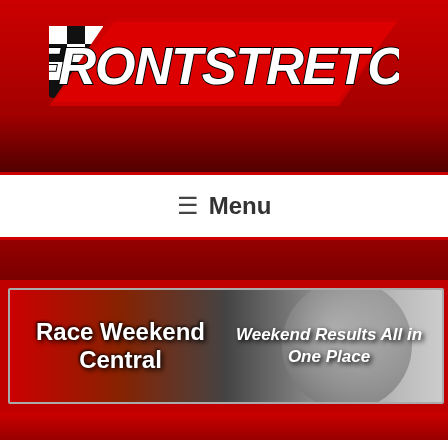[Figure (logo): Frontstretch website logo — red and black banner with checkered flag and FRONTSTRETCH text in large italic letters]
≡ Menu
[Figure (illustration): Race Weekend Central banner — Weekend Results All in One Place]
Mark Martin
[Figure (illustration): Advertisement: 60 Second Ritual Rebuilds Your Teeth and — with face illustration, n/a label, close button, and blue arrow button]